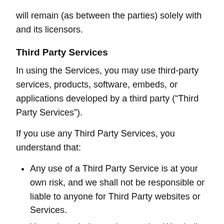will remain (as between the parties) solely with and its licensors.
Third Party Services
In using the Services, you may use third-party services, products, software, embeds, or applications developed by a third party (“Third Party Services”).
If you use any Third Party Services, you understand that:
Any use of a Third Party Service is at your own risk, and we shall not be responsible or liable to anyone for Third Party websites or Services.
You acknowledge and agree that We shall not be responsible or liable for any damage or loss